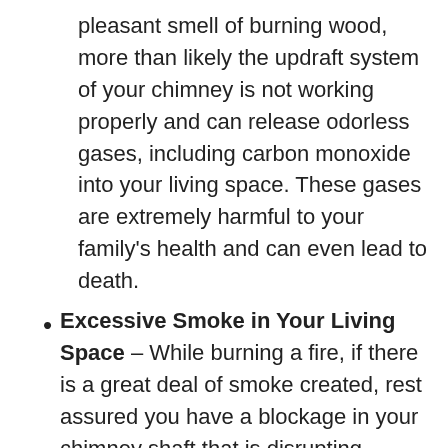pleasant smell of burning wood, more than likely the updraft system of your chimney is not working properly and can release odorless gases, including carbon monoxide into your living space. These gases are extremely harmful to your family's health and can even lead to death.
Excessive Smoke in Your Living Space – While burning a fire, if there is a great deal of smoke created, rest assured you have a blockage in your chimney shaft that is disrupting proper airflow.
Damaged Damper – The damper on